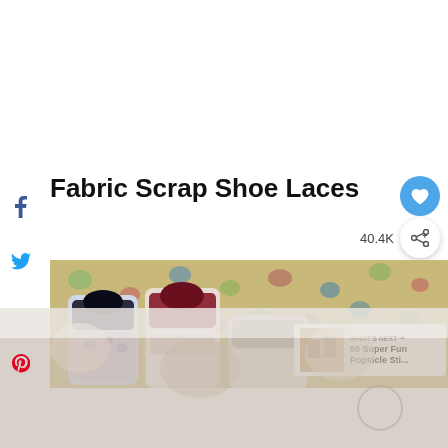[Figure (screenshot): Social media sharing sidebar with Facebook, Twitter, and Pinterest icons on the left side of the page]
Fabric Scrap Shoe Laces
40.4K
[Figure (photo): Photograph of shoes with fabric scrap laces standing upright on a floral background, showing tops of three shoes. A 'What's Next' overlay shows '50 Super Fun Popsicle Sti...' promotional content.]
[Figure (photo): Bottom portion of a continuation photo showing fabric scrap shoe laces detail, faded/semi-transparent at bottom of page]